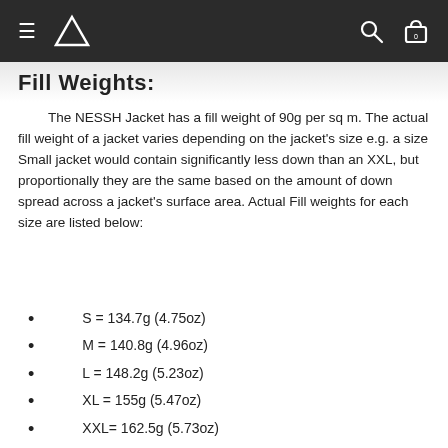Navigation bar with menu, logo, search and cart icons
Fill Weights:
The NESSH Jacket has a fill weight of 90g per sq m. The actual fill weight of a jacket varies depending on the jacket's size e.g. a size Small jacket would contain significantly less down than an XXL, but proportionally they are the same based on the amount of down spread across a jacket's surface area. Actual Fill weights for each size are listed below:
S = 134.7g (4.75oz)
M = 140.8g (4.96oz)
L = 148.2g (5.23oz)
XL = 155g (5.47oz)
XXL= 162.5g (5.73oz)